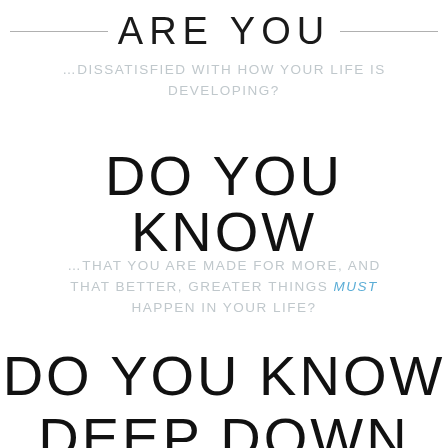ARE YOU
…DISSATISFIED WITH HOW YOUR LIFE IS DEVELOPING?
DO YOU KNOW
…THAT YOU ARE MADE FOR MORE, AND THAT BETTER, GREATER THINGS MUST HAPPEN IN YOUR LIFE?
DO YOU KNOW
DEEP DOWN